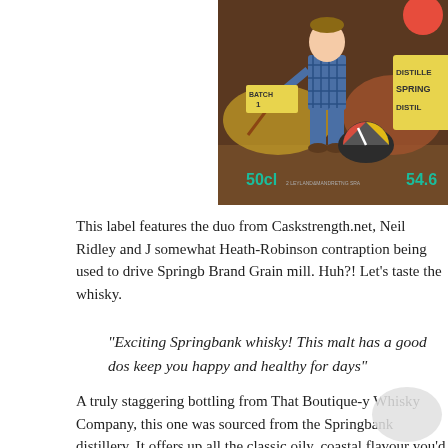[Figure (illustration): Comic book style illustration showing a character in blue plaid suit operating a contraption. Labels visible include 'BATCH 1', 'DISTILLE SPRING DISTIL', '50cl', '54.6', and small text '2 LEYLAND & MANDRETNG SRA' on a brown background.]
This label features the duo from Caskstrength.net, Neil Ridley and J somewhat Heath-Robinson contraption being used to drive Springb Brand Grain mill. Huh?! Let's taste the whisky.
“Exciting Springbank whisky! This malt has a good dos keep you happy and healthy for days”
A truly staggering bottling from That Boutique-y Whisky Company, this one was sourced from the Springbank distillery. It offers up all the classic oily, coastal flavour you’d expect, and even comes with a superb comic book-style